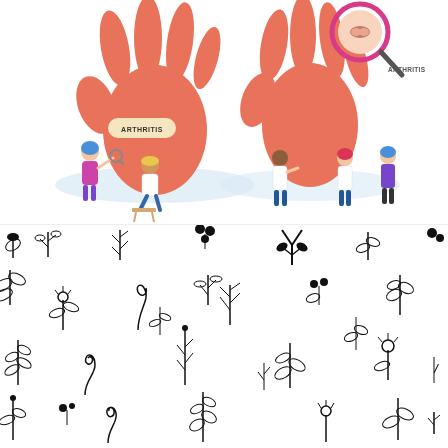[Figure (illustration): Medical illustration showing two large orange/red cartoon hands with tiny doctor figures examining them for arthritis. A magnifying glass shows a close-up of a joint. Labels read 'ARTHRITIS' on both hands. Figures include doctors in white coats and a patient.]
[Figure (illustration): Black and white seamless botanical pattern background featuring various hand-drawn herbs, leaves, branches, flowers, and plant sprigs scattered across a white background.]